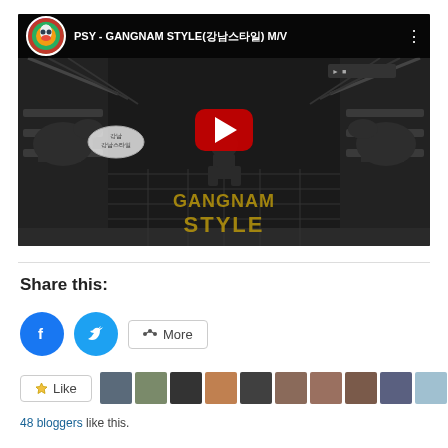[Figure (screenshot): YouTube video thumbnail for PSY - GANGNAM STYLE M/V showing animated/cartoon scene with play button overlay and video title bar with channel avatar]
Share this:
[Figure (screenshot): Social sharing buttons: Facebook (blue circle with f icon), Twitter (blue circle with bird icon), and a More button with share icon]
[Figure (screenshot): Like button with star icon followed by a strip of 12 small blogger avatar photos]
48 bloggers like this.